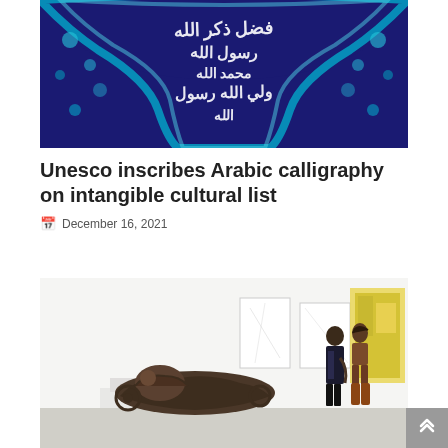[Figure (photo): Arabic calligraphy tile artwork with white Arabic script on deep blue background with decorative floral border patterns]
Unesco inscribes Arabic calligraphy on intangible cultural list
December 16, 2021
[Figure (photo): Art gallery interior showing a bronze sculpture of a reclining figure in the foreground, two women viewing artwork on white walls in the background]